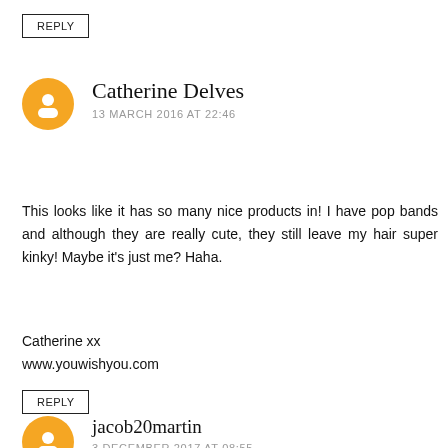REPLY
Catherine Delves
13 MARCH 2016 AT 22:46
This looks like it has so many nice products in! I have pop bands and although they are really cute, they still leave my hair super kinky! Maybe it's just me? Haha.

Catherine xx
www.youwishyou.com
REPLY
jacob20martin
3 DECEMBER 2017 AT 08:55